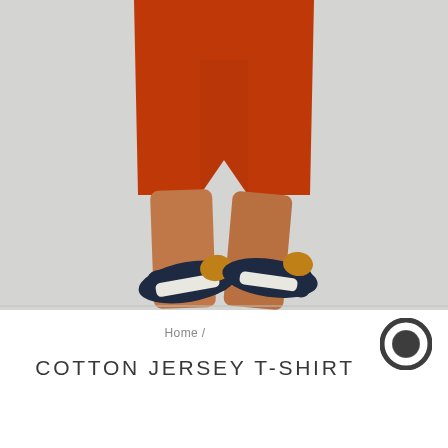[Figure (photo): Lower body of a person wearing orange/red shorts and navy/white/gold sneakers, photographed against a light gray background. Only legs and hands at waist are visible.]
Home /
COTTON JERSEY T-SHIRT